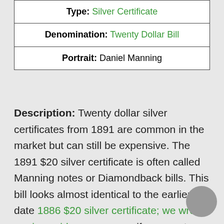| Type: | Silver Certificate |
| Denomination: | Twenty Dollar Bill |
| Portrait: | Daniel Manning |
Description: Twenty dollar silver certificates from 1891 are common in the market but can still be expensive. The 1891 $20 silver certificate is often called Manning notes or Diamondback bills. This bill looks almost identical to the earlier date 1886 $20 silver certificate; we wrote a price guide you can see if you want more information. We would love to see what you have, please contact us by email or phone today.